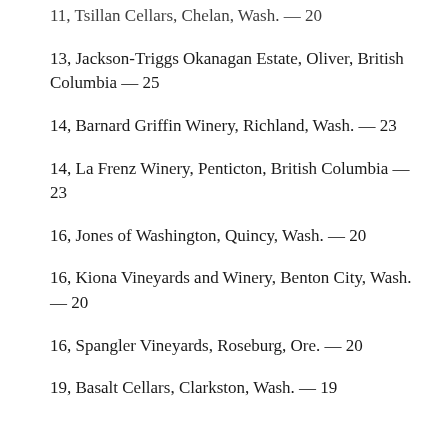11, Tsillan Cellars, Chelan, Wash. — 20
13, Jackson-Triggs Okanagan Estate, Oliver, British Columbia — 25
14, Barnard Griffin Winery, Richland, Wash. — 23
14, La Frenz Winery, Penticton, British Columbia — 23
16, Jones of Washington, Quincy, Wash. — 20
16, Kiona Vineyards and Winery, Benton City, Wash. — 20
16, Spangler Vineyards, Roseburg, Ore. — 20
19, Basalt Cellars, Clarkston, Wash. — 19